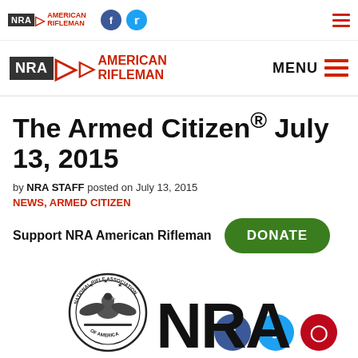[Figure (logo): NRA American Rifleman logo with small social media icons (Facebook, Twitter) and hamburger menu — top navigation bar]
[Figure (logo): NRA American Rifleman large logo with MENU text and hamburger menu — secondary navigation bar]
The Armed Citizen® July 13, 2015
by NRA STAFF posted on July 13, 2015
NEWS, ARMED CITIZEN
[Figure (infographic): Social share buttons: Facebook (blue), Twitter (light blue), Pinterest (red)]
Support NRA American Rifleman
[Figure (other): Green DONATE button]
[Figure (logo): NRA seal (National Rifle Association circular seal with eagle) and large NRA text logo at bottom of page]